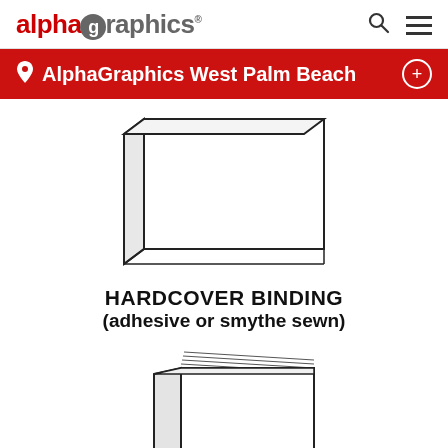alphagraphics
AlphaGraphics West Palm Beach
[Figure (illustration): Line drawing of a hardcover book viewed from the side/top perspective, showing the spine and cover edges with minimal detail]
HARDCOVER BINDING
(adhesive or smythe sewn)
[Figure (illustration): Line drawing of a closed hardcover book viewed from the front-side angle, showing multiple pages fanned at the top and a thick cover]